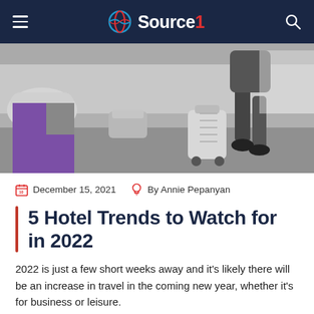Source1
[Figure (photo): Black and white photo of a hotel lobby with a person walking with a rolling suitcase; purple brand mark overlaid bottom-left]
December 15, 2021   By Annie Pepanyan
5 Hotel Trends to Watch for in 2022
2022 is just a few short weeks away and it's likely there will be an increase in travel in the coming new year, whether it's for business or leisure.